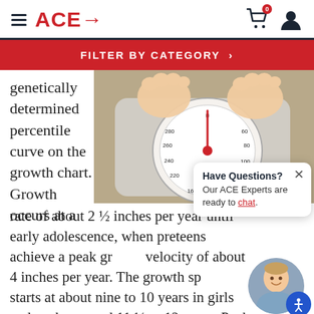ACE→
FILTER BY CATEGORY ›
genetically determined percentile curve on the growth chart. Growth occurs at a
[Figure (photo): Close-up photo of child's feet on a bathroom scale showing numbers around the dial]
Have Questions? Our ACE Experts are ready to chat.
rate of about 2 ½ inches per year until early adolescence, when preteens achieve a peak growth velocity of about 4 inches per year. The growth spurt starts at about nine to 10 years in girls and peaks around 11 ½ to 12 years. Peak growth velocity typicall